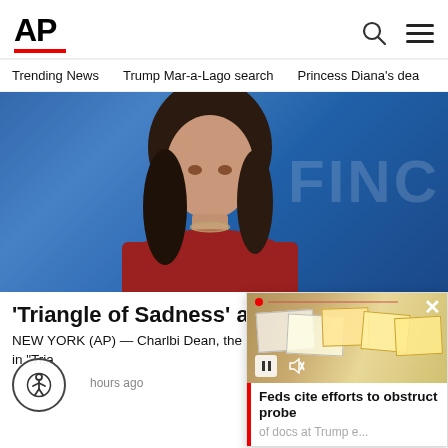AP
Trending News   Trump Mar-a-Lago search   Princess Diana's dea
[Figure (photo): Woman with long dark hair wearing a red blazer, photographed in front of a blue backdrop with partial text 'FINC' visible on the right side.]
'Triangle of Sadness' actor, m dies at 32
NEW YORK (AP) — Charlbi Dean, the model who had a breakout role in "Tria
hours ago
[Figure (screenshot): Video popup overlay showing items on a table (documents/envelopes) with play/pause controls, a close X button, and the headline 'Feds cite efforts to obstruct probe' with subtext 'of docs at Trump e...']